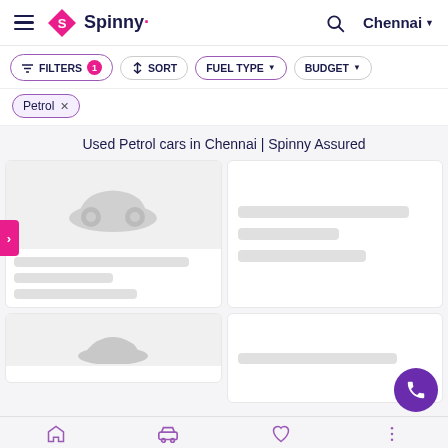Spinny — Chennai
FILTERS 1 | SORT | FUEL TYPE | BUDGET
Petrol ×
Used Petrol cars in Chennai | Spinny Assured
[Figure (screenshot): Loading car listing cards with placeholder skeleton content — two cards visible, first card shows greyed-out car silhouette with three skeleton lines for text, second card with skeleton line, second row partially visible]
[Figure (other): Purple phone/call FAB button in bottom right corner]
Bottom navigation bar with home, car, heart, menu icons